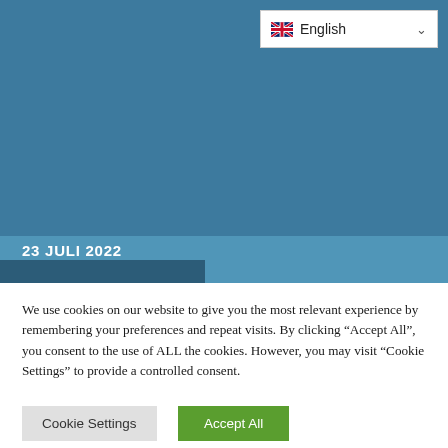[Figure (screenshot): Blue header background area of a website]
English (language selector with UK flag and dropdown chevron)
23 JULI 2022
We use cookies on our website to give you the most relevant experience by remembering your preferences and repeat visits. By clicking “Accept All”, you consent to the use of ALL the cookies. However, you may visit “Cookie Settings” to provide a controlled consent.
Cookie Settings
Accept All